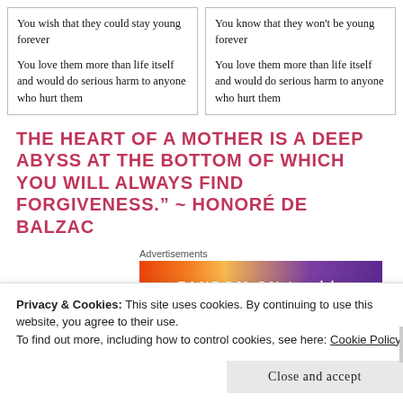You wish that they could stay young forever

You love them more than life itself and would do serious harm to anyone who hurt them
You know that they won't be young forever

You love them more than life itself and would do serious harm to anyone who hurt them
THE HEART OF A MOTHER IS A DEEP ABYSS AT THE BOTTOM OF WHICH YOU WILL ALWAYS FIND FORGIVENESS." ~ HONORÉ DE BALZAC
Advertisements
[Figure (other): Fandom on Tumblr advertisement banner with colorful gradient background in orange, yellow and purple, with white text reading FANDOM ON tumblr]
Privacy & Cookies: This site uses cookies. By continuing to use this website, you agree to their use.
To find out more, including how to control cookies, see here: Cookie Policy
Close and accept